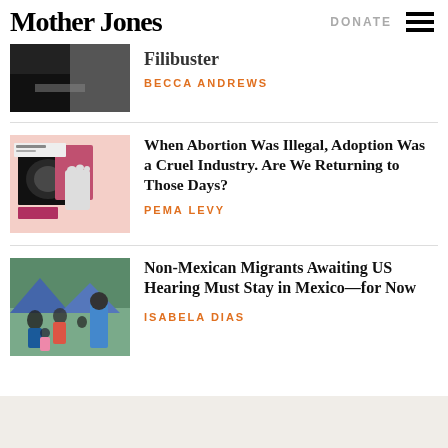Mother Jones | DONATE
Filibuster
BECCA ANDREWS
When Abortion Was Illegal, Adoption Was a Cruel Industry. Are We Returning to Those Days?
PEMA LEVY
Non-Mexican Migrants Awaiting US Hearing Must Stay in Mexico—for Now
ISABELA DIAS